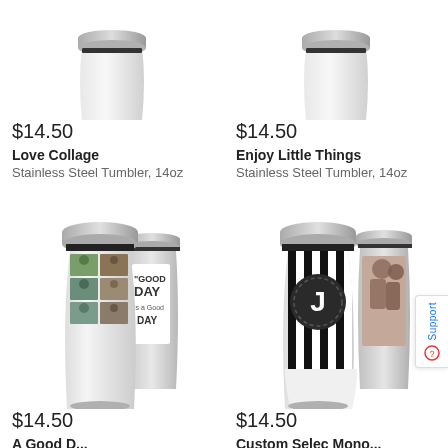[Figure (photo): White stainless steel tumbler 14oz - Love Collage design, partially cropped at top]
$14.50
Love Collage
Stainless Steel Tumbler, 14oz
[Figure (photo): White stainless steel tumbler 14oz - Enjoy Little Things design, partially cropped at top]
$14.50
Enjoy Little Things
Stainless Steel Tumbler, 14oz
[Figure (photo): Two stainless steel tumblers with photo collage and Good Day design]
$14.50
A Good Day (truncated)
[Figure (photo): Two stainless steel tumblers with monogram J stripe design and photo design]
$14.50
Custom Select Monogram Mini (truncated)